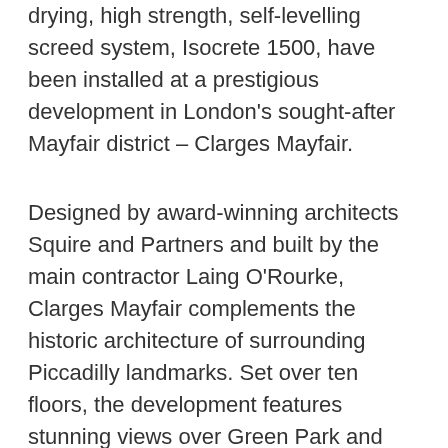drying, high strength, self-levelling screed system, Isocrete 1500, have been installed at a prestigious development in London's sought-after Mayfair district – Clarges Mayfair.
Designed by award-winning architects Squire and Partners and built by the main contractor Laing O'Rourke, Clarges Mayfair complements the historic architecture of surrounding Piccadilly landmarks. Set over ten floors, the development features stunning views over Green Park and Buckingham Palace and exceptional private wellness facilities, including a 25 metre swimming pool, fully equipped gymnasium, sauna and steam room, as well as a private cinema screen and 24 hour concierge and security. Isocrete 1500 has been